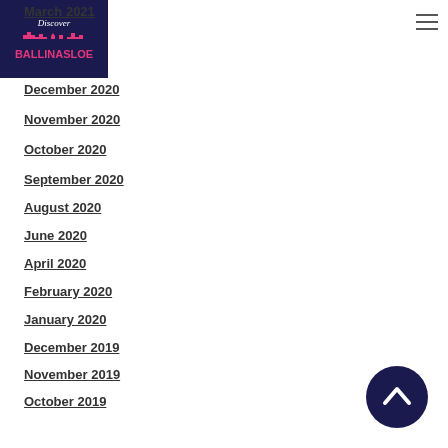[Figure (logo): Discover Ballinasloe logo — dark navy background with pink text and city skyline silhouette]
March 2021
December 2020
November 2020
October 2020
September 2020
August 2020
June 2020
April 2020
February 2020
January 2020
December 2019
November 2019
October 2019
September 2019
August 2019
July 2019
June 2019
May 2019
[Figure (other): Back to top button — dark navy circle with upward chevron arrow]